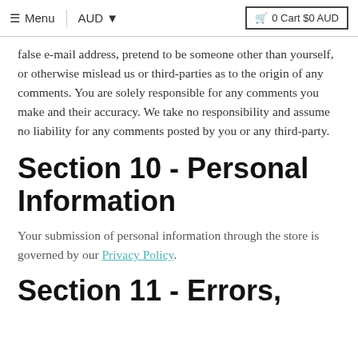≡ Menu  |  AUD ▾  🛒 0 Cart $0 AUD
false e-mail address, pretend to be someone other than yourself, or otherwise mislead us or third-parties as to the origin of any comments. You are solely responsible for any comments you make and their accuracy. We take no responsibility and assume no liability for any comments posted by you or any third-party.
Section 10 - Personal Information
Your submission of personal information through the store is governed by our Privacy Policy.
Section 11 - Errors,